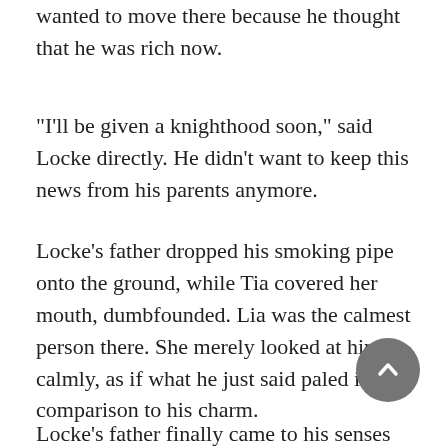wanted to move there because he thought that he was rich now.
"I'll be given a knighthood soon," said Locke directly. He didn't want to keep this news from his parents anymore.
Locke's father dropped his smoking pipe onto the ground, while Tia covered her mouth, dumbfounded. Lia was the calmest person there. She merely looked at him calmly, as if what he just said paled in comparison to his charm.
Locke's father finally came to his senses after a